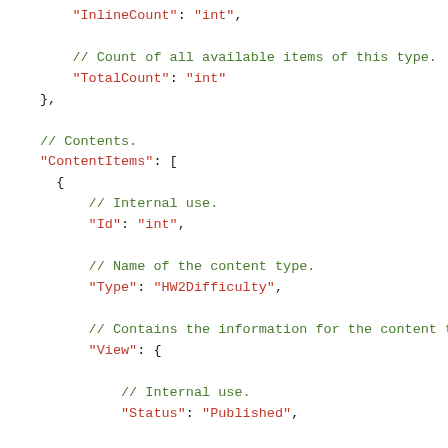Code snippet showing JSON structure with InlineCount, TotalCount, ContentItems, Id, Type, View, Status, Common fields